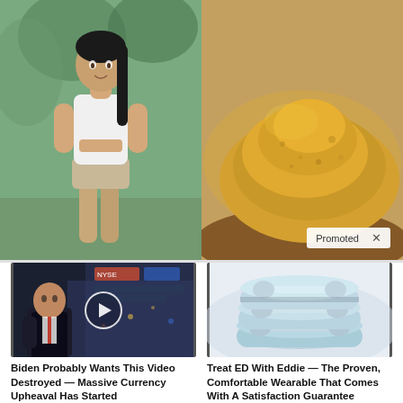[Figure (photo): Top banner split image: left side shows a fit woman with long dark hair in white crop top and tan shorts; right side shows a pile of golden/brown spice powder. A 'Promoted X' badge appears in the bottom-right corner.]
[Figure (screenshot): Thumbnail of a news video showing a man in dark suit, TV studio background with financial graphics, play button overlay]
Biden Probably Wants This Video Destroyed — Massive Currency Upheaval Has Started
🔥 139,082
[Figure (photo): Product photo of light blue rubber/silicone ring-shaped wearable devices stacked together]
Treat ED With Eddie — The Proven, Comfortable Wearable That Comes With A Satisfaction Guarantee
🔥 165,285